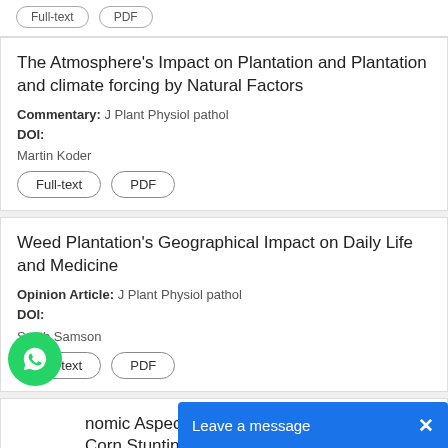Full-text  PDF (top bar buttons, partial)
The Atmosphere's Impact on Plantation and Plantation and climate forcing by Natural Factors
Commentary: J Plant Physiol pathol
DOI:
Martin Koder
Full-text  PDF
Weed Plantation's Geographical Impact on Daily Life and Medicine
Opinion Article: J Plant Physiol pathol
DOI:
Smith Samson
Full-text  PDF
nomic Aspects, Efficiency of Photosystem Corn Stunting Disease of Popcorn (Zea mays Var. Everta Sturt.) Culti...
Research Article: J Plant Physiol P